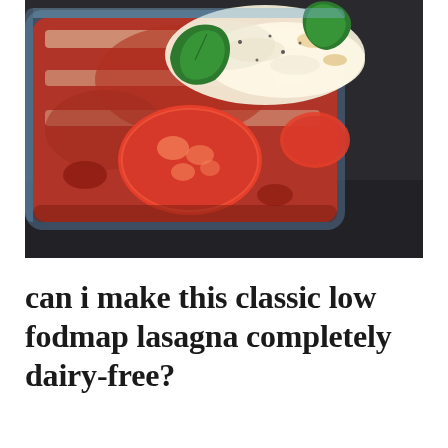[Figure (photo): Overhead close-up photo of a baked lasagna in a glass rectangular baking dish, topped with melted mozzarella cheese, sliced tomatoes, fresh green basil leaves, and black pepper. The dish sits on a dark slate/stone surface.]
can i make this classic low fodmap lasagna completely dairy-free?